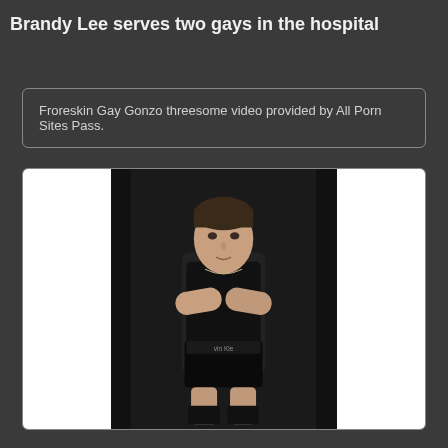Brandy Lee serves two gays in the hospital
Froreskin Gay Gonzo threesome video provided by All Porn Sites Pass.
[Figure (photo): A young man in a black tank top and dark underwear with Calvin Klein waistband, sitting with arms crossed, photographed against a dark background. The image has white vertical strips on either side.]